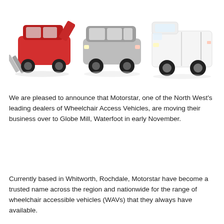[Figure (photo): Three vehicles side by side: a red SUV/crossover with a wheelchair ramp deployed from the rear, a silver minivan/MPV, and a white panel van.]
We are pleased to announce that Motorstar, one of the North West's leading dealers of Wheelchair Access Vehicles, are moving their business over to Globe Mill, Waterfoot in early November.
Currently based in Whitworth, Rochdale, Motorstar have become a trusted name across the region and nationwide for the range of wheelchair accessible vehicles (WAVs) that they always have available.